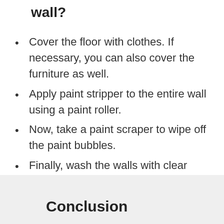wall?
Cover the floor with clothes. If necessary, you can also cover the furniture as well.
Apply paint stripper to the entire wall using a paint roller.
Now, take a paint scraper to wipe off the paint bubbles.
Finally, wash the walls with clear water to get the best result.
Conclusion